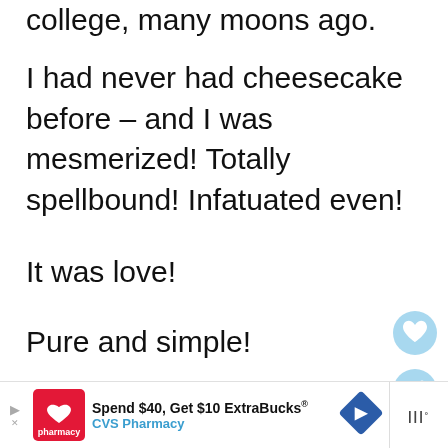college, many moons ago.
I had never had cheesecake before – and I was mesmerized! Totally spellbound! Infatuated even!
It was love!
Pure and simple!
[Figure (photo): Close-up photo of cheesecake topped with fresh blueberries on a plate, with a 'What's Next' overlay showing a thumbnail of Vegan Strawberry... recipe, a heart button, and a share button.]
[Figure (screenshot): CVS Pharmacy advertisement banner: 'Spend $40, Get $10 ExtraBucks® CVS Pharmacy' with CVS logo and a blue diamond navigation arrow.]